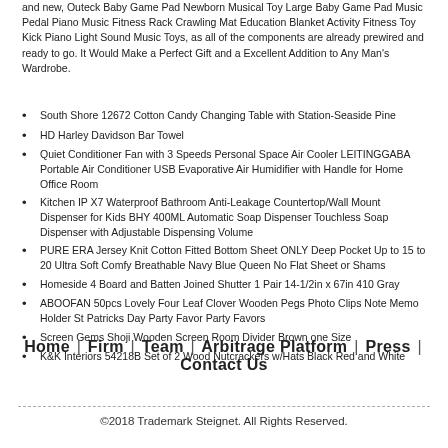and new, Outeck Baby Game Pad Newborn Musical Toy Large Baby Game Pad Music Pedal Piano Music Fitness Rack Crawling Mat Education Blanket Activity Fitness Toy Kick Piano Light Sound Music Toys, as all of the components are already prewired and ready to go. It Would Make a Perfect Gift and a Excellent Addition to Any Man's Wardrobe.
South Shore 12672 Cotton Candy Changing Table with Station-Seaside Pine
HD Harley Davidson Bar Towel
Quiet Conditioner Fan with 3 Speeds Personal Space Air Cooler LEITINGGABA Portable Air Conditioner USB Evaporative Air Humidifier with Handle for Home Office Room
Kitchen IP X7 Waterproof Bathroom Anti-Leakage Countertop/Wall Mount Dispenser for Kids BHY 400ML Automatic Soap Dispenser Touchless Soap Dispenser with Adjustable Dispensing Volume
PURE ERA Jersey Knit Cotton Fitted Bottom Sheet ONLY Deep Pocket Up to 15 to 20 Ultra Soft Comfy Breathable Navy Blue Queen No Flat Sheet or Shams
Homeside 4 Board and Batten Joined Shutter 1 Pair 14-1/2in x 67in 410 Gray
ABOOFAN 50pcs Lovely Four Leaf Clover Wooden Pegs Photo Clips Note Memo Holder St Patricks Day Party Favor Party Favors
Screen Gems Shoji Wooden Screen Room Divider Brown one Size
K&K Interiors 54218B Set of 2 Wood Nutcrackers w/Hats Black Red and White
Home | Firm | Team | Arbitrage Platform | Press | Contact Us
©2018 Trademark Steignet. All Rights Reserved.